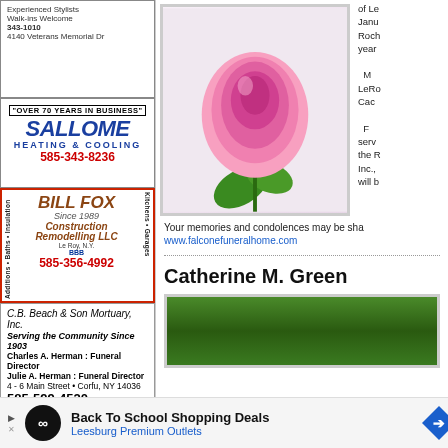[Figure (photo): Sallome Heating & Cooling advertisement with logo and phone number 585-343-8236]
[Figure (photo): Bill Fox & Son Construction Remodeling LLC advertisement with phone 585-356-4992]
[Figure (photo): C.B. Beach & Son Mortuary Inc. advertisement, serving community since 1903, phone 585-599-4520]
[Figure (photo): Elba Diner advertisement - Diner & Catering, Daily Specials, Like us on Facebook, 585-757-5001]
[Figure (photo): Pink rose flower photograph]
of Le January Roc years
M LeRo Cac
F serv the R Inc., will b
Your memories and condolences may be sha
www.falconefuneralhome.com
Catherine M. Green
[Figure (photo): Green trees/foliage photograph for Catherine M. Green obituary]
[Figure (photo): Back To School Shopping Deals - Leesburg Premium Outlets banner advertisement]